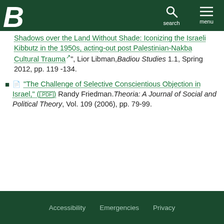Boise State University header with search and menu
Shadows over the Land Without Shade: Iconizing the Israeli Kibbutz in the 1950s, acting-out post Palestinian-Nakba Cultural Trauma", Lior Libman, Badiou Studies 1.1, Spring 2012, pp. 119-134.
"The Challenge of Selective Conscientious Objection in Israel," (.PDF) Randy Friedman. Theoria: A Journal of Social and Political Theory, Vol. 109 (2006), pp. 79-99.
Accessibility   Emergencies   Privacy